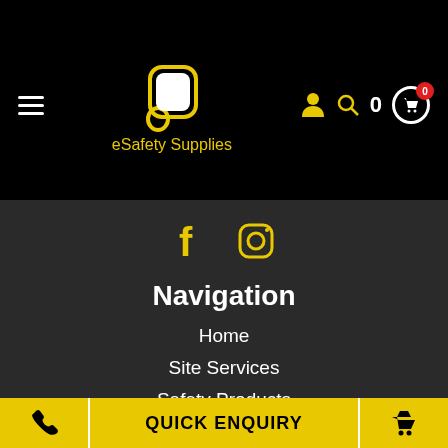eSafety Supplies
[Figure (logo): eSafety Supplies logo with rounded square icon and yellow text]
[Figure (illustration): Social media icons: Facebook (f) and Instagram camera icon in yellow]
Navigation
Home
Site Services
Safety Products
Contact
Account Application
QUICK ENQUIRY